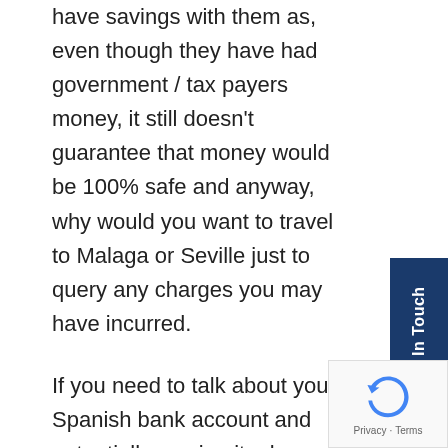have savings with them as, even though they have had government / tax payers money, it still doesn't guarantee that money would be 100% safe and anyway, why would you want to travel to Malaga or Seville just to query any charges you may have incurred.
If you need to talk about your Spanish bank account and potentially moving it, please don't hesitate to get in touch with Fluent Finance Abroad.